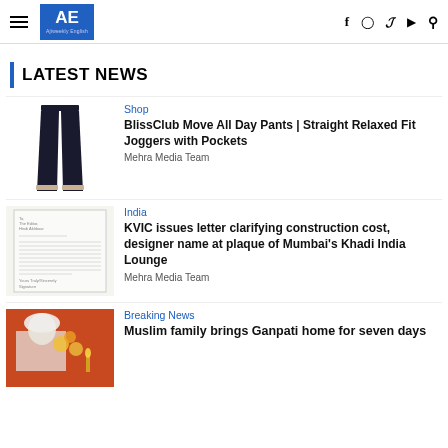AE Ajiweekly English — navigation header with hamburger menu, logo, social icons (f, instagram, twitter, youtube, search)
LATEST NEWS
[Figure (photo): Dark navy blue straight-leg jogger pants product photo on white background]
Shop
BlissClub Move All Day Pants | Straight Relaxed Fit Joggers with Pockets
Mehra Media Team
[Figure (photo): Scanned letter document image - KVIC letter with text content]
India
KVIC issues letter clarifying construction cost, designer name at plaque of Mumbai's Khadi India Lounge
Mehra Media Team
[Figure (photo): Photo of woman in white sari with orange background and flowers - Ganpati celebration]
Breaking News
Muslim family brings Ganpati home for seven days